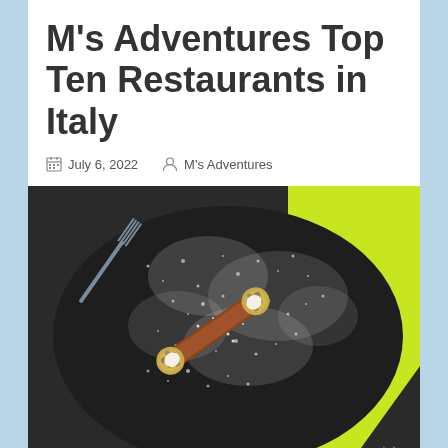M's Adventures Top Ten Restaurants in Italy
July 6, 2022   M's Adventures
[Figure (photo): A cannoli Italian pastry topped with powdered sugar and chopped pistachios, served on a dark plate with a fork, with a bright yellow-green napkin in the background.]